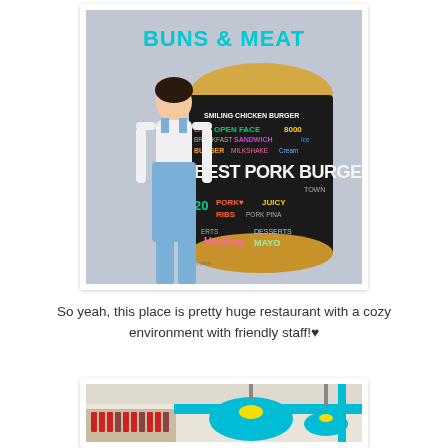[Figure (photo): A young woman standing in front of the 'Buns & Meat' restaurant sign/menu board which is shaped like a burger and lists menu items in colorful chalk-style lettering including 'BIG', 'OPEN FACE', 'BEST PORK BURGER', 'JUICY PORK RIBS', 'HOTDOG', 'MAYO', etc.]
So yeah, this place is pretty huge restaurant with a cozy environment with friendly staff!♥
[Figure (photo): Interior of the Buns & Meat restaurant showing a turquoise/cyan pendant lamp hanging from the ceiling, wooden shelving with bottles in the background, and turquoise-painted structural elements.]